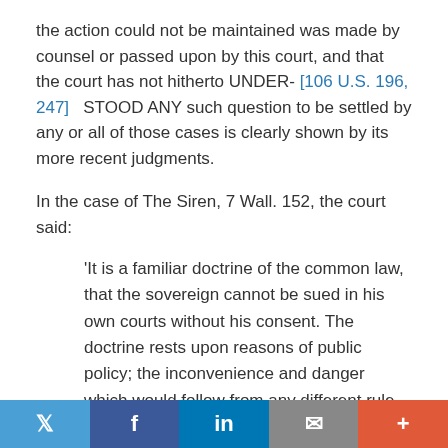the action could not be maintained was made by counsel or passed upon by this court, and that the court has not hitherto UNDER- [106 U.S. 196, 247]   STOOD ANY such question to be settled by any or all of those cases is clearly shown by its more recent judgments.
In the case of The Siren, 7 Wall. 152, the court said:
'It is a familiar doctrine of the common law, that the sovereign cannot be sued in his own courts without his consent. The doctrine rests upon reasons of public policy; the inconvenience and danger which would follow from any different rule. It is obvious that the public service would be hindered, and the public safety endangered, if the supreme authority could be subjected to suit at the instance of every citizen, and consequently controlled in the use and disposition of the means required for the
Twitter | Facebook | LinkedIn | Email | +